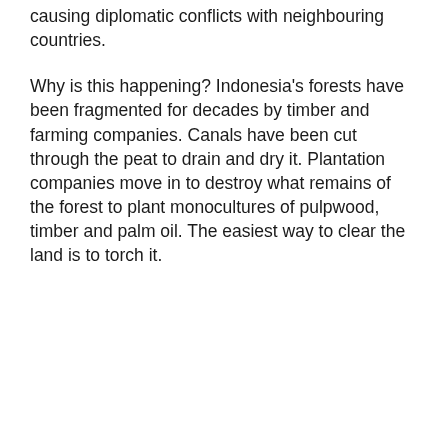causing diplomatic conflicts with neighbouring countries.
Why is this happening? Indonesia's forests have been fragmented for decades by timber and farming companies. Canals have been cut through the peat to drain and dry it. Plantation companies move in to destroy what remains of the forest to plant monocultures of pulpwood, timber and palm oil. The easiest way to clear the land is to torch it.